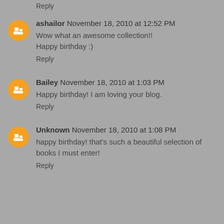Reply
ashailor  November 18, 2010 at 12:52 PM
Wow what an awesome collection!!
Happy birthday :)
Reply
Bailey  November 18, 2010 at 1:03 PM
Happy birthday! I am loving your blog.
Reply
Unknown  November 18, 2010 at 1:08 PM
happy birthday! that's such a beautiful selection of books I must enter!
Reply